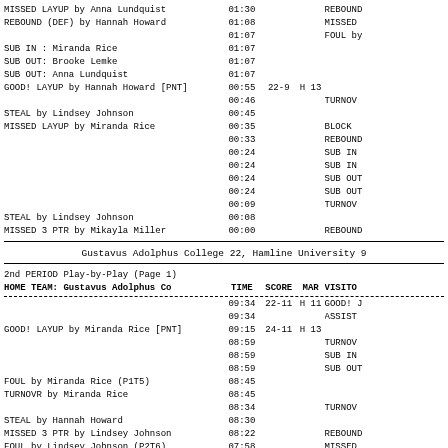| HOME TEAM | TIME | SCORE | MAR | VISITOR |
| --- | --- | --- | --- | --- |
| MISSED LAYUP by Anna Lundquist | 01:30 |  |  | REBOUND |
| REBOUND (DEF) by Hannah Howard | 01:08 |  |  | MISSED |
|  | 01:07 |  |  | FOUL by |
| SUB IN : Miranda Rice | 01:07 |  |  |  |
| SUB OUT: Brooke Lemke | 01:07 |  |  |  |
| SUB OUT: Anna Lundquist | 01:07 |  |  |  |
| GOOD! LAYUP by Hannah Howard [PNT] | 00:55 | 22-9 | H 13 |  |
|  | 00:46 |  |  | TURNOV |
| STEAL by Lindsey Johnson | 00:45 |  |  |  |
| MISSED LAYUP by Miranda Rice | 00:35 |  |  | BLOCK |
|  | 00:33 |  |  | REBOUND |
|  | 00:24 |  |  | SUB IN |
|  | 00:24 |  |  | SUB IN |
|  | 00:24 |  |  | SUB OUT |
|  | 00:24 |  |  | SUB OUT |
|  | 00:09 |  |  | TURNOV |
| STEAL by Lindsey Johnson | 00:08 |  |  |  |
| MISSED 3 PTR by Mikayla Miller | 00:00 |  |  | REBOUND |
Gustavus Adolphus College 22, Hamline University 9
| HOME TEAM: Gustavus Adolphus Co | TIME | SCORE | MAR | VISITOR |
| --- | --- | --- | --- | --- |
|  | 09:34 | 22-11 | H 11 | GOOD! J |
|  | 09:34 |  |  | ASSIST |
| GOOD! LAYUP by Miranda Rice [PNT] | 09:15 | 24-11 | H 13 |  |
|  | 08:59 |  |  | TURNOV |
|  | 08:59 |  |  | SUB IN |
|  | 08:59 |  |  | SUB OUT |
| FOUL by Miranda Rice (P1T5) | 08:45 |  |  |  |
| TURNOVR by Miranda Rice | 08:45 |  |  |  |
|  | 08:34 |  |  | TURNOV |
| STEAL by Hannah Howard | 08:30 |  |  |  |
| MISSED 3 PTR by Lindsey Johnson | 08:22 |  |  | REBOUND |
| FOUL by Lindsey Johnson (P2T6) | 07:58 |  |  | MISSED |
|  | 07:58 | 24-12 | H 12 | GOOD! |